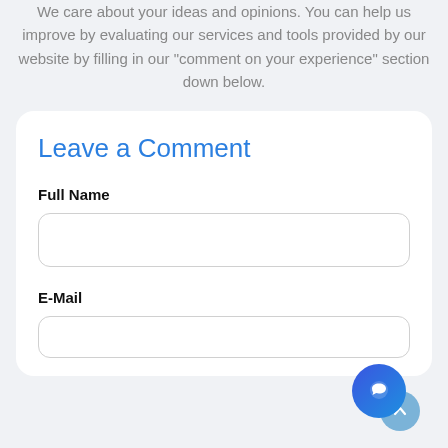We care about your ideas and opinions. You can help us improve by evaluating our services and tools provided by our website by filling in our "comment on your experience" section down below.
Leave a Comment
Full Name
E-Mail